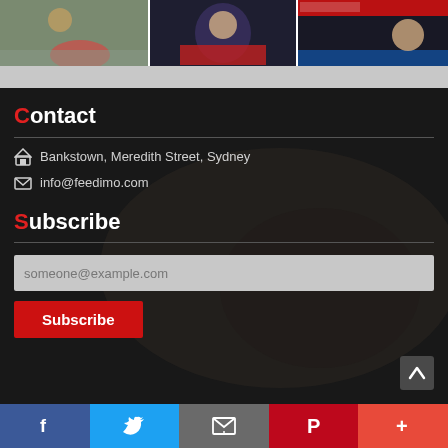[Figure (photo): Three thumbnail images side by side at the top: outdoor scene with people, man in suit at event, TV news broadcast on MSNBC]
Contact
Bankstown, Meredith Street, Sydney
info@feedimo.com
Subscribe
someone@example.com
Subscribe
f  (twitter bird)  (envelope)  P  +